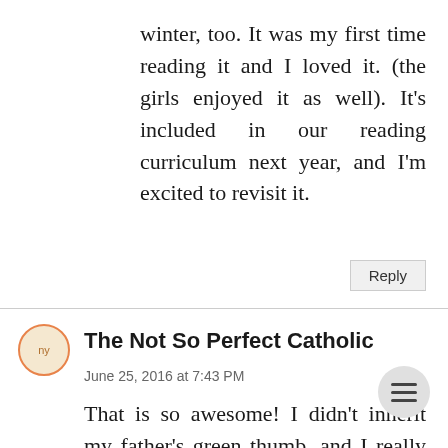winter, too. It was my first time reading it and I loved it. (the girls enjoyed it as well). It's included in our reading curriculum next year, and I'm excited to revisit it.
Reply
The Not So Perfect Catholic
June 25, 2016 at 7:43 PM
That is so awesome! I didn't inherit my father's green thumb, and I really reg not learning how to properly garden from him. Last year was his last garden; it's too